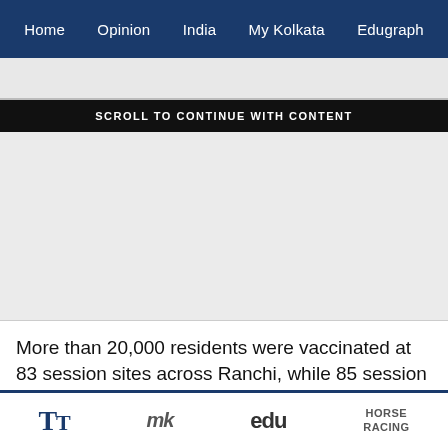Home   Opinion   India   My Kolkata   Edugraph
SCROLL TO CONTINUE WITH CONTENT
[Figure (other): Advertisement placeholder area (gray box)]
More than 20,000 residents were vaccinated at 83 session sites across Ranchi, while 85 session sites inoculated over 18,000 residents in East Singhbhum, as per the Co-Win portal. At least 68 session sites opened
TT   My Kolkata   edu   HORSE RACING